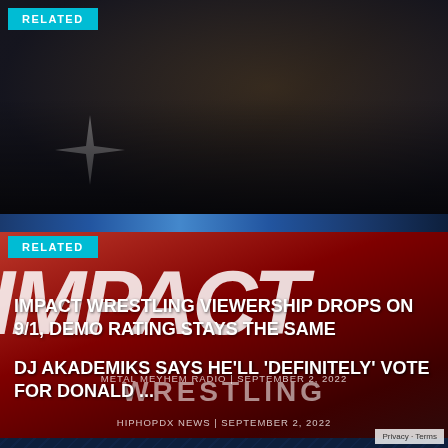[Figure (photo): Top related article card: DJ Akademiks seated in a studio, wearing a black cap and jacket, dark background]
DJ AKADEMIKS SAYS HE'LL 'DEFINITELY' VOTE FOR DONALD ...
HIPHOPDX NEWS | SEPTEMBER 2, 2022
[Figure (photo): Bottom related article card: Red Impact Wrestling logo/background with large white IMPACT text and WRESTLING text below]
IMPACT WRESTLING VIEWERSHIP DROPS ON 9/1, DEMO RATING STAYS THE SAME
METAL MEYHEM RADIO | SEPTEMBER 2, 2022
Privacy · Terms